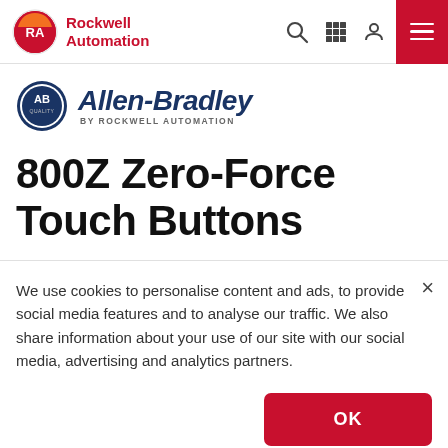Rockwell Automation navigation bar with logo, search, grid, user, and menu icons
[Figure (logo): Allen-Bradley by Rockwell Automation logo]
800Z Zero-Force Touch Buttons
We use cookies to personalise content and ads, to provide social media features and to analyse our traffic. We also share information about your use of our site with our social media, advertising and analytics partners.